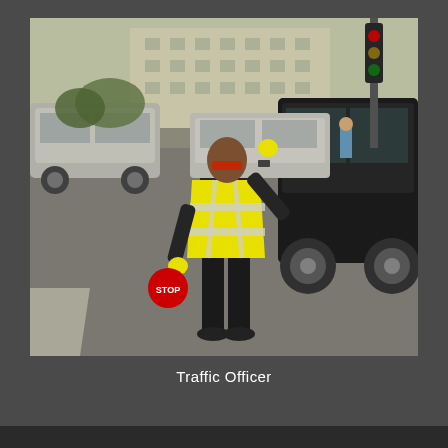[Figure (photo): A traffic officer standing in the middle of a road directing traffic. He is wearing a bright yellow high-visibility safety vest with reflective silver stripes, black pants, black shoes, and yellow gloves. He holds a red stop sign paddle in one hand and raises the other hand to his forehead. Cars and an SUV are visible on the road behind him, along with a building and traffic signal pole in the background.]
Traffic Officer